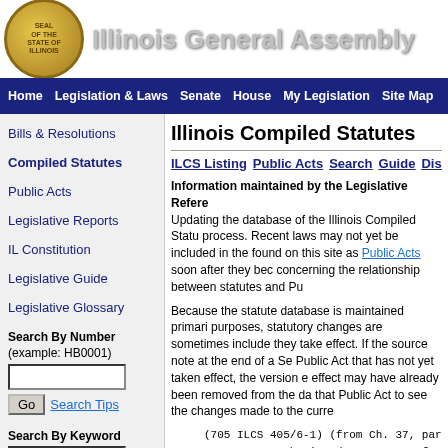Illinois General Assembly
Home | Legislation & Laws | Senate | House | My Legislation | Site Map
Bills & Resolutions
Compiled Statutes
Public Acts
Legislative Reports
IL Constitution
Legislative Guide
Legislative Glossary
Search By Number (example: HB0001)
Search Tips
Search By Keyword
Illinois Compiled Statutes
ILCS Listing  Public Acts  Search  Guide  Dis
Information maintained by the Legislative Refe Updating the database of the Illinois Compiled Statu process. Recent laws may not yet be included in the found on this site as Public Acts soon after they bec concerning the relationship between statutes and Pu
Because the statute database is maintained primari purposes, statutory changes are sometimes include they take effect. If the source note at the end of a Se Public Act that has not yet taken effect, the version e effect may have already been removed from the dab that Public Act to see the changes made to the curre
(705 ILCS 405/6-1) (from Ch. 37, par Sec. 6-1. Probation departments; fu (1) The chief judge of each circuit probation services for each county in appointment of officers to probat departments and the administration of